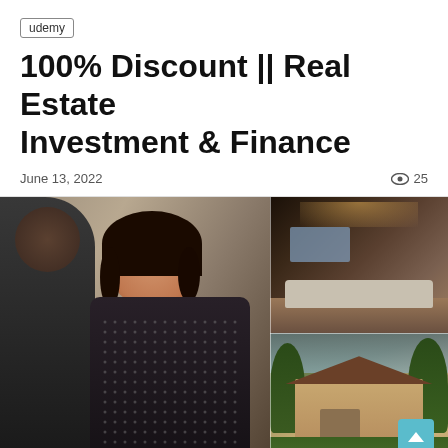udemy
100% Discount || Real Estate Investment & Finance
June 13, 2022
👁 25
[Figure (photo): Collage of three real estate images: left shows a man from behind and a smiling female real estate agent; top right shows a luxury interior living room with low lighting; bottom right shows an exterior view of an upscale residential house with green lawn and trees.]